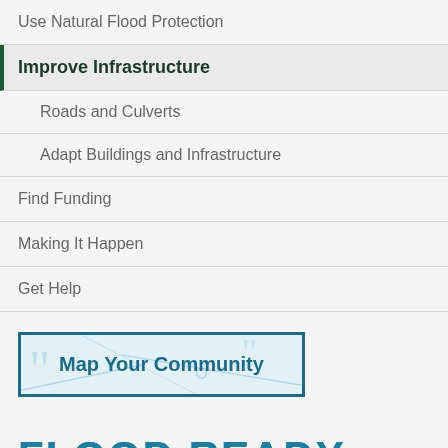Use Natural Flood Protection
Improve Infrastructure
Roads and Culverts
Adapt Buildings and Infrastructure
Find Funding
Making It Happen
Get Help
[Figure (other): Map Your Community button with map background graphic]
FLOOD READY